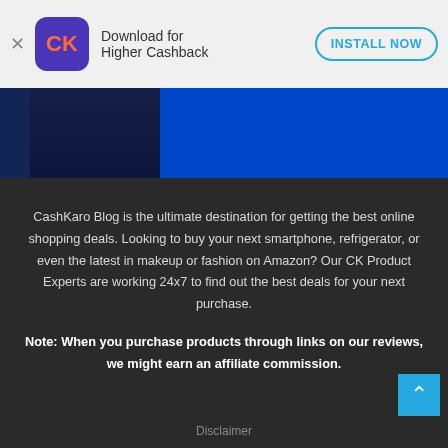[Figure (screenshot): App install banner for CashKaro with logo, 'Download for Higher Cashback' text, and 'INSTALL NOW' button]
[Figure (photo): Blue image strip showing partial photo of person, dark overlay on left]
CashKaro Blog is the ultimate destination for getting the best online shopping deals. Looking to buy your next smartphone, refrigerator, or even the latest in makeup or fashion on Amazon? Our CK Product Experts are working 24x7 to find out the best deals for your next purchase.
Note: When you purchase products through links on our reviews, we might earn an affiliate commission.
Disclaimer